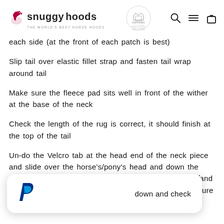snuggy hoods — THE WORLD'S BEST HORSE HOODS [with royal warrant crest and nav icons]
each side (at the front of each patch is best)
Slip tail over elastic fillet strap and fasten tail wrap around tail
Make sure the fleece pad sits well in front of the wither at the base of the neck
Check the length of the rug is correct, it should finish at the top of the tail
Un-do the Velcro tab at the head end of the neck piece and slide over the horse's/pony's head and down the neck. Attach the Velcro strips either size of the neck and fasten the Velcro loops at the wither and chest to ensure there are no [gaps/wrinkles]
[...] down and check the [...]